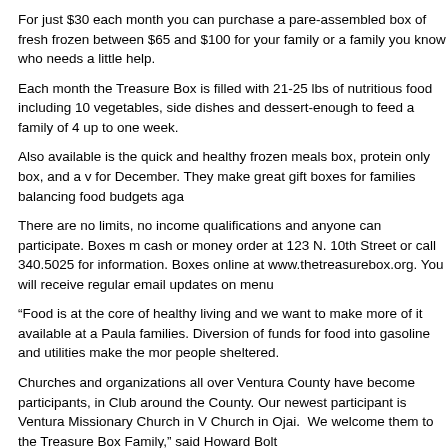For just $30 each month you can purchase a pare-assembled box of fresh frozen between $65 and $100 for your family or a family you know who needs a little help.
Each month the Treasure Box is filled with 21-25 lbs of nutritious food including 10 vegetables, side dishes and dessert-enough to feed a family of 4 up to one week.
Also available is the quick and healthy frozen meals box, protein only box, and a v for December. They make great gift boxes for families balancing food budgets aga
There are no limits, no income qualifications and anyone can participate. Boxes m cash or money order at 123 N. 10th Street or call 340.5025 for information. Boxes online at www.thetreasurebox.org. You will receive regular email updates on menu
“Food is at the core of healthy living and we want to make more of it available at a Paula families. Diversion of funds for food into gasoline and utilities make the mor people sheltered.
Churches and organizations all over Ventura County have become participants, in Club around the County. Our newest participant is Ventura Missionary Church in V Church in Ojai.  We welcome them to the Treasure Box Family,” said Howard Bolt
For more information, call Dawn Bavero at 805.302.9939 or Kay Wilson-Bolton at